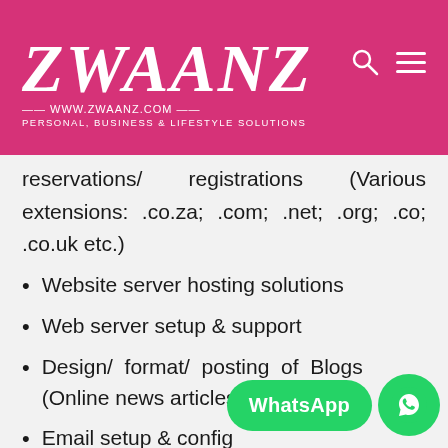[Figure (logo): ZWAANZ logo on pink/magenta background with tagline WWW.ZWAANZ.COM PERSONAL, BUSINESS & LIFESTYLE SOLUTIONS, with search and menu icons top right]
reservations/ registrations (Various extensions: .co.za; .com; .net; .org; .co; .co.uk etc.)
Website server hosting solutions
Web server setup & support
Design/ format/ posting of Blogs (Online news articles)
Email setup & config…
Functional (HTML) email signature design